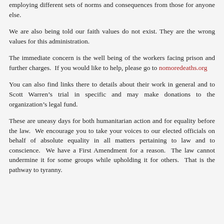employing different sets of norms and consequences from those for anyone else.
We are also being told our faith values do not exist. They are the wrong values for this administration.
The immediate concern is the well being of the workers facing prison and further charges.  If you would like to help, please go to nomoredeaths.org
You can also find links there to details about their work in general and to Scott Warren’s trial in specific and may make donations to the organization’s legal fund.
These are uneasy days for both humanitarian action and for equality before the law.  We encourage you to take your voices to our elected officials on behalf of absolute equality in all matters pertaining to law and to conscience.  We have a First Amendment for a reason.  The law cannot undermine it for some groups while upholding it for others.  That is the pathway to tyranny.